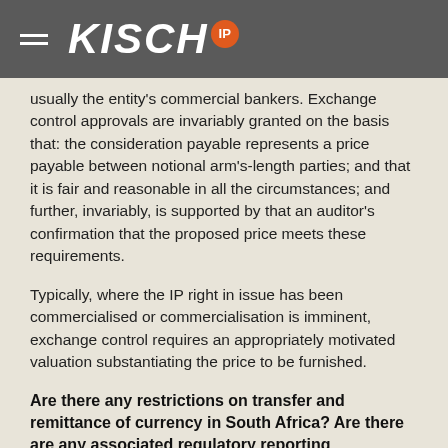KISCH IP
usually the entity's commercial bankers. Exchange control approvals are invariably granted on the basis that: the consideration payable represents a price payable between notional arm's-length parties; and that it is fair and reasonable in all the circumstances; and further, invariably, is supported by that an auditor's confirmation that the proposed price meets these requirements.
Typically, where the IP right in issue has been commercialised or commercialisation is imminent, exchange control requires an appropriately motivated valuation substantiating the price to be furnished.
Are there any restrictions on transfer and remittance of currency in South Africa? Are there are any associated regulatory reporting requirements?
The SARB has placed several restrictions on capital flows to and from South Africa. The restrictions are regulated in terms to the SARB exchange control regulations. The authorisation